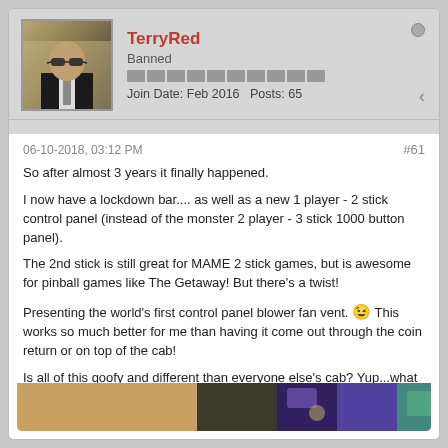[Figure (photo): Avatar photo of a bald man in sunglasses and dark suit]
TerryRed
Banned
Join Date: Feb 2016   Posts: 65
06-10-2018, 03:12 PM
#61
So after almost 3 years it finally happened.
I now have a lockdown bar.... as well as a new 1 player - 2 stick control panel (instead of the monster 2 player - 3 stick 1000 button panel).
The 2nd stick is still great for MAME 2 stick games, but is awesome for pinball games like The Getaway! But there's a twist!
Presenting the world's first control panel blower fan vent. 😉 This works so much better for me than having it come out through the coin return or on top of the cab!
Is all of this goofy and different than everyone else's cab? Yup...what else would you expect from me? 🙂
https://www.youtube.com/watch?v=rNVnnkQQ4fl&t=
[Figure (photo): Thumbnail strip of an arcade cabinet image]